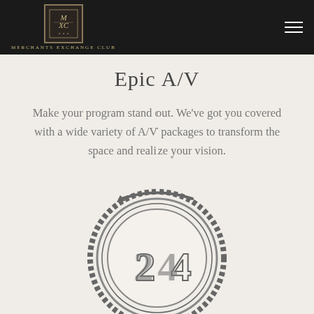MERCHANTS EXCHANGE CLUB
Epic A/V
Make your program stand out. We've got you covered with a wide variety of A/V packages to transform the space and realize your vision.
[Figure (illustration): Circular 24-hour clock icon with rope/chain border and an arrow wrapping around it, drawn in a sketch/doodle style]